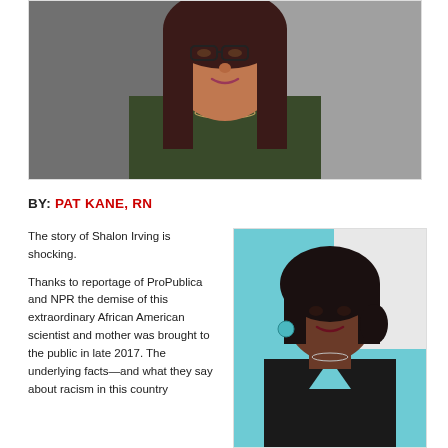[Figure (photo): Portrait photo of a woman with long dark hair and glasses, wearing a dark green top with a necklace, smiling slightly against a grey background]
BY: PAT KANE, RN
The story of Shalon Irving is shocking.
Thanks to reportage of ProPublica and NPR the demise of this extraordinary African American scientist and mother was brought to the public in late 2017. The underlying facts—and what they say about racism in this country...
[Figure (photo): Portrait photo of a woman with short dark curly hair wearing a black sleeveless top, with teal/turquoise background]